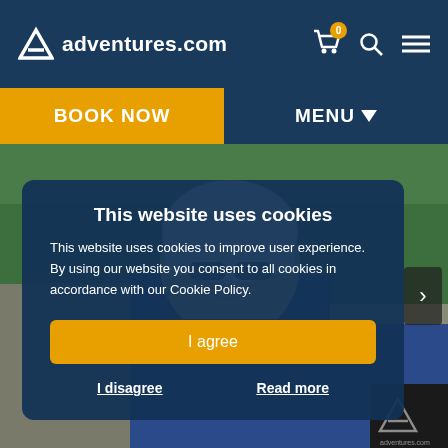adventures.com
BOOK NOW
MENU
[Figure (photo): Rock climber wearing white helmet and sunglasses smiling, with green forest background and rocky terrain]
This website uses cookies
This website uses cookies to improve user experience. By using our website you consent to all cookies in accordance with our Cookie Policy.
I agree
I disagree
Read more